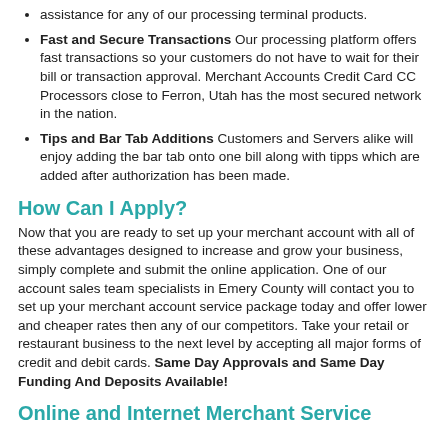assistance for any of our processing terminal products.
Fast and Secure Transactions Our processing platform offers fast transactions so your customers do not have to wait for their bill or transaction approval. Merchant Accounts Credit Card CC Processors close to Ferron, Utah has the most secured network in the nation.
Tips and Bar Tab Additions Customers and Servers alike will enjoy adding the bar tab onto one bill along with tipps which are added after authorization has been made.
How Can I Apply?
Now that you are ready to set up your merchant account with all of these advantages designed to increase and grow your business, simply complete and submit the online application. One of our account sales team specialists in Emery County will contact you to set up your merchant account service package today and offer lower and cheaper rates then any of our competitors. Take your retail or restaurant business to the next level by accepting all major forms of credit and debit cards. Same Day Approvals and Same Day Funding And Deposits Available!
Online and Internet Merchant Service